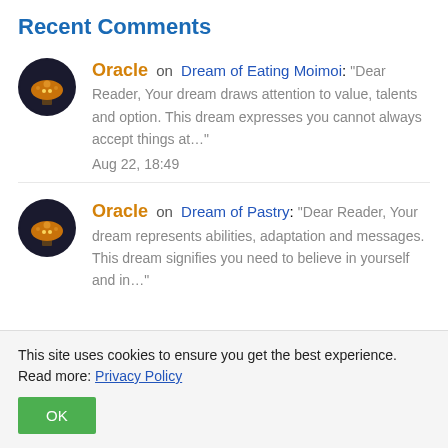Recent Comments
Oracle on Dream of Eating Moimoi: “Dear Reader, Your dream draws attention to value, talents and option. This dream expresses you cannot always accept things at…” Aug 22, 18:49
Oracle on Dream of Pastry: “Dear Reader, Your dream represents abilities, adaptation and messages. This dream signifies you need to believe in yourself and in…”
This site uses cookies to ensure you get the best experience. Read more: Privacy Policy
OK